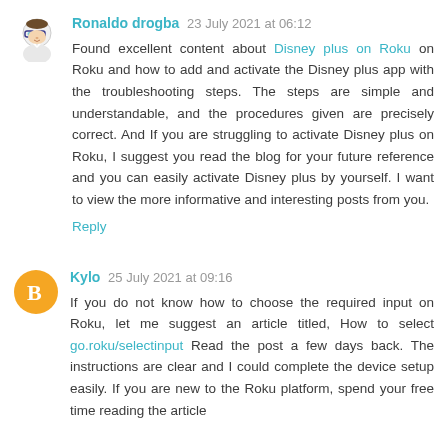[Figure (illustration): Avatar icon of a cartoon character with glasses and lab coat]
Ronaldo drogba 23 July 2021 at 06:12
Found excellent content about Disney plus on Roku on Roku and how to add and activate the Disney plus app with the troubleshooting steps. The steps are simple and understandable, and the procedures given are precisely correct. And If you are struggling to activate Disney plus on Roku, I suggest you read the blog for your future reference and you can easily activate Disney plus by yourself. I want to view the more informative and interesting posts from you.
Reply
[Figure (logo): Orange circle with white Blogger 'B' icon]
Kylo 25 July 2021 at 09:16
If you do not know how to choose the required input on Roku, let me suggest an article titled, How to select go.roku/selectinput Read the post a few days back. The instructions are clear and I could complete the device setup easily. If you are new to the Roku platform, spend your free time reading the article